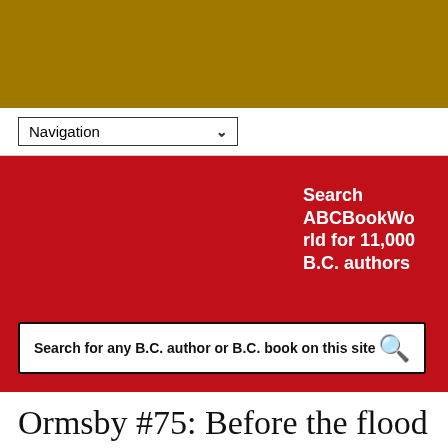[Figure (other): Gold/dark yellow banner header area]
Navigation
[Figure (other): Red banner section with 'Search ABCBookWorld for 11,000 B.C. authors' text and a search box reading 'Search for any B.C. author or B.C. book on this site']
Ormsby #75: Before the flood
Jay Sherwood's Ootsa Lake Odyssey tells the story of a German immigrant couple displaced by the construction of the Kenney